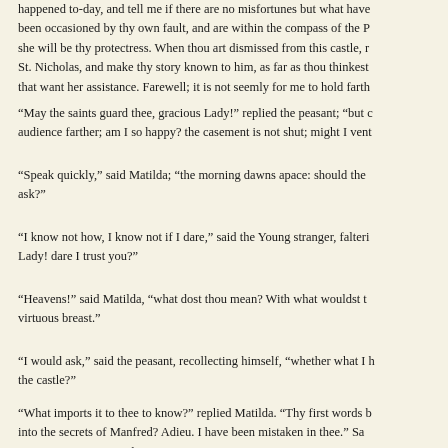happened to-day, and tell me if there are no misfortunes but what have been occasioned by thy own fault, and are within the compass of the P she will be thy protectress.  When thou art dismissed from this castle, r St. Nicholas, and make thy story known to him, as far as thou thinkest that want her assistance.  Farewell; it is not seemly for me to hold farth
“May the saints guard thee, gracious Lady!” replied the peasant; “but c audience farther; am I so happy? the casement is not shut; might I vent
“Speak quickly,” said Matilda; “the morning dawns apace: should the ask?”
“I know not how, I know not if I dare,” said the Young stranger, falteri Lady! dare I trust you?”
“Heavens!” said Matilda, “what dost thou mean?  With what wouldst t virtuous breast.”
“I would ask,” said the peasant, recollecting himself, “whether what I h the castle?”
“What imports it to thee to know?” replied Matilda.  “Thy first words b into the secrets of Manfred?  Adieu.  I have been mistaken in thee.”  Sa young man time to reply.